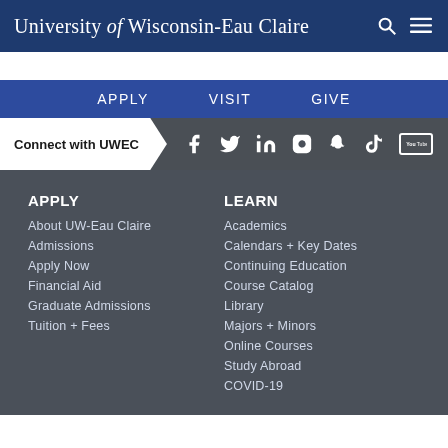University of Wisconsin-Eau Claire
APPLY   VISIT   GIVE
Connect with UWEC — Facebook, Twitter, LinkedIn, Instagram, Snapchat, TikTok, YouTube
APPLY
About UW-Eau Claire
Admissions
Apply Now
Financial Aid
Graduate Admissions
Tuition + Fees
LEARN
Academics
Calendars + Key Dates
Continuing Education
Course Catalog
Library
Majors + Minors
Online Courses
Study Abroad
COVID-19